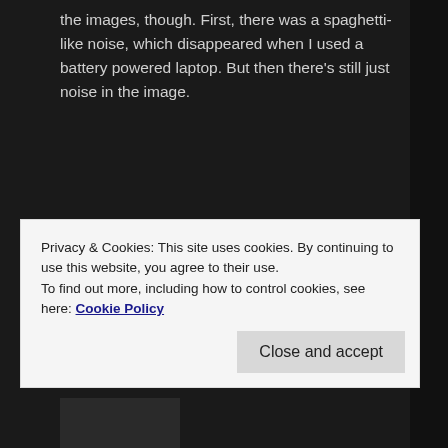the images, though. First, there was a spaghetti-like noise, which disappeared when I used a battery powered laptop. But then there's still just noise in the image.
Some pictures and data of the project and PSU used are here: https://drive.google.com/drive/folders/1IOqiNriF_SKqkomrbLYey0usp=sharing
I guess maybe the approach is too coarse, but I don't know for sure. Do you have any ideas on this?
Privacy & Cookies: This site uses cookies. By continuing to use this website, you agree to their use.
To find out more, including how to control cookies, see here: Cookie Policy